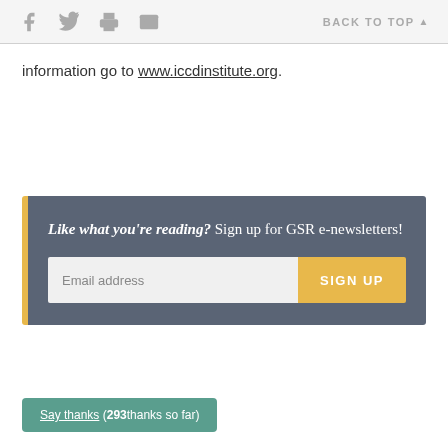f [twitter] [print] [email]   BACK TO TOP ▲
information go to www.iccdinstitute.org.
Like what you're reading? Sign up for GSR e-newsletters!  Email address  SIGN UP
Say thanks ( 293 thanks so far)